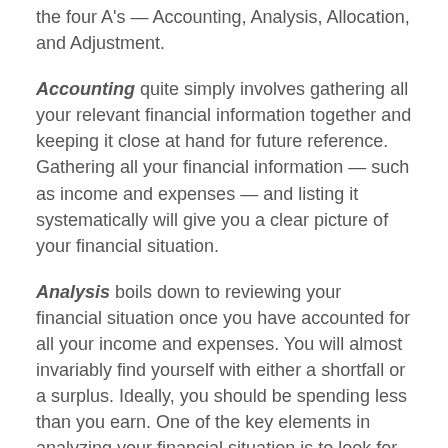the four A's — Accounting, Analysis, Allocation, and Adjustment.
Accounting quite simply involves gathering all your relevant financial information together and keeping it close at hand for future reference. Gathering all your financial information — such as income and expenses — and listing it systematically will give you a clear picture of your financial situation.
Analysis boils down to reviewing your financial situation once you have accounted for all your income and expenses. You will almost invariably find yourself with either a shortfall or a surplus. Ideally, you should be spending less than you earn. One of the key elements in analyzing your financial situation is to look for ways to reduce your expenses. This can help to free up cash that can either be invested for the long term or used to pay off fixed debt.
For example, if you were to reduce restaurant expenses